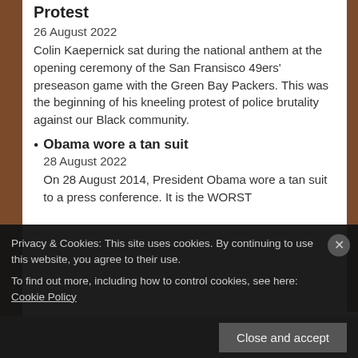Protest
26 August 2022
Colin Kaepernick sat during the national anthem at the opening ceremony of the San Fransisco 49ers' preseason game with the Green Bay Packers. This was the beginning of his kneeling protest of police brutality against our Black community.
Obama wore a tan suit
28 August 2022
On 28 August 2014, President Obama wore a tan suit to a press conference. It is the WORST
Privacy & Cookies: This site uses cookies. By continuing to use this website, you agree to their use.
To find out more, including how to control cookies, see here: Cookie Policy
Close and accept